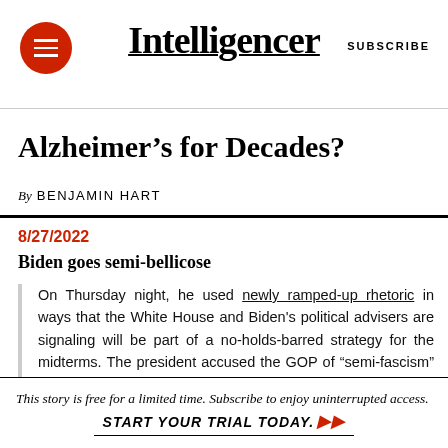Intelligencer | SUBSCRIBE
Alzheimer's for Decades?
By BENJAMIN HART
8/27/2022
Biden goes semi-bellicose
On Thursday night, he used newly ramped-up rhetoric in ways that the White House and Biden's political advisers are signaling will be part of a no-holds-barred strategy for the midterms. The president accused the GOP of “semi-fascism” and said he doesn’t respect, and can’t work with, “MAGA Republicans” who he said “embrace political violence.” He hardened his
This story is free for a limited time. Subscribe to enjoy uninterrupted access. START YOUR TRIAL TODAY.